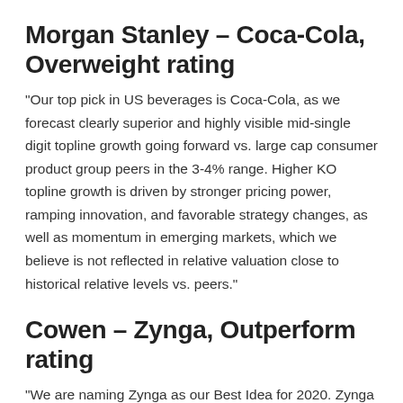Morgan Stanley – Coca-Cola, Overweight rating
“Our top pick in US beverages is Coca-Cola, as we forecast clearly superior and highly visible mid-single digit topline growth going forward vs. large cap consumer product group peers in the 3-4% range. Higher KO topline growth is driven by stronger pricing power, ramping innovation, and favorable strategy changes, as well as momentum in emerging markets, which we believe is not reflected in relative valuation close to historical relative levels vs. peers.”
Cowen – Zynga, Outperform rating
“We are naming Zynga as our Best Idea for 2020. Zynga has proven itself to be the most consistent company in the